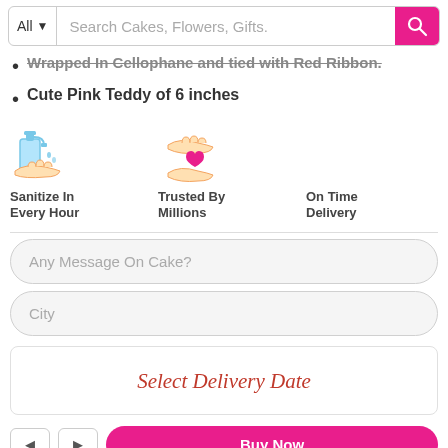All  |  Search Cakes, Flowers, Gifts.
Wrapped In Cellophane and tied with Red Ribbon.
Cute Pink Teddy of 6 inches
[Figure (illustration): Three icons: a hand sanitizer pump icon (Sanitize In Every Hour), two hands holding a heart icon (Trusted By Millions), and a clock/delivery icon (On Time Delivery)]
Any Message On Cake?
City
Select Delivery Date